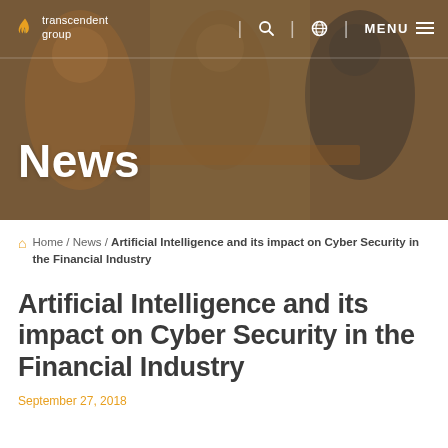[Figure (screenshot): Hero banner showing office/meeting room background with blurred people, overlaid with 'News' text in white bold font. Navigation bar at top with Transcendent Group logo (flame icon), search icon, globe icon, MENU label with hamburger lines.]
Home / News / Artificial Intelligence and its impact on Cyber Security in the Financial Industry
Artificial Intelligence and its impact on Cyber Security in the Financial Industry
September 27, 2018